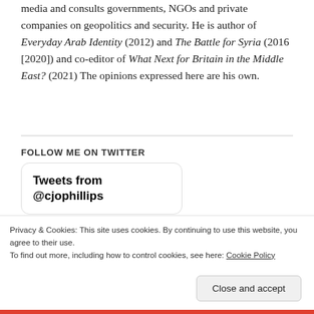media and consults governments, NGOs and private companies on geopolitics and security. He is author of Everyday Arab Identity (2012) and The Battle for Syria (2016 [2020]) and co-editor of What Next for Britain in the Middle East? (2021) The opinions expressed here are his own.
FOLLOW ME ON TWITTER
Tweets from @cjophillips
Privacy & Cookies: This site uses cookies. By continuing to use this website, you agree to their use.
To find out more, including how to control cookies, see here: Cookie Policy
Close and accept